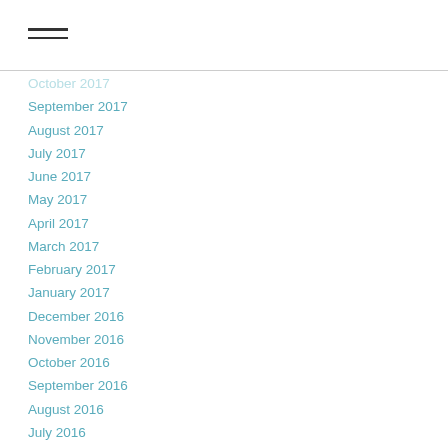[Figure (other): Hamburger menu icon — three horizontal lines]
October 2017
September 2017
August 2017
July 2017
June 2017
May 2017
April 2017
March 2017
February 2017
January 2017
December 2016
November 2016
October 2016
September 2016
August 2016
July 2016
June 2016
May 2016